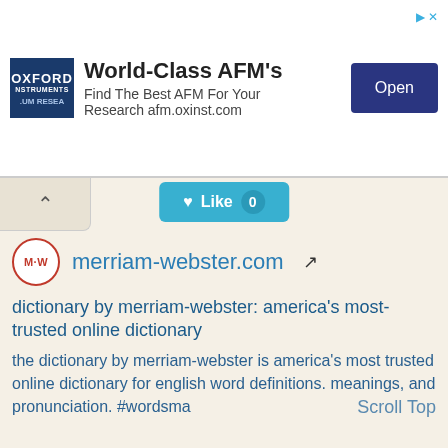[Figure (screenshot): Advertisement banner for Oxford Instruments AFM products. Shows Oxford Instruments logo, text 'World-Class AFM's Find The Best AFM For Your Research afm.oxinst.com', and an 'Open' button.]
[Figure (screenshot): Web UI element: chevron up button on left, teal 'Like 0' button in center with heart icon]
[Figure (logo): Merriam-Webster circular logo with M-W text in red circle]
merriam-webster.com
dictionary by merriam-webster: america's most-trusted online dictionary
the dictionary by merriam-webster is america's most trusted online dictionary for english word definitions. meanings, and pronunciation. #wordsma
Scroll Top
Semrush Rank: 10
Website Worth: $ 131,303,500
Categories: Reference/Dictionaries, Society,
Science/Social Sciences, Education/Reference,